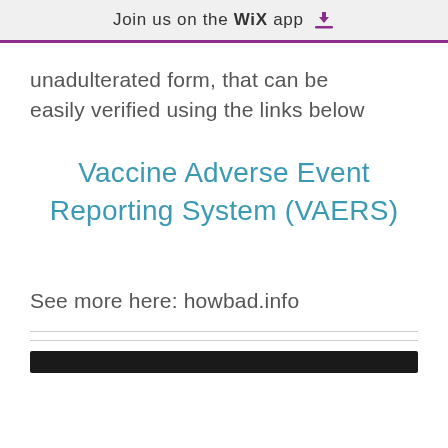Join us on the WiX app
unadulterated form, that can be easily verified using the links below
Vaccine Adverse Event Reporting System (VAERS)
See more here: howbad.info